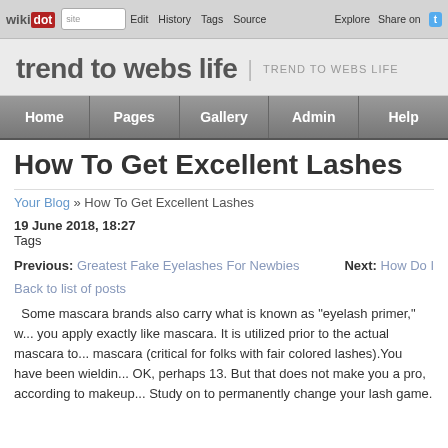wikidot | site | Edit | History | Tags | Source | Explore | Share on [Twitter]
trend to webs life | TREND TO WEBS LIFE
Home | Pages | Gallery | Admin | Help
How To Get Excellent Lashes
Your Blog » How To Get Excellent Lashes
19 June 2018, 18:27
Tags
Previous: Greatest Fake Eyelashes For Newbies   Next: How Do I
Back to list of posts
Some mascara brands also carry what is known as "eyelash primer," w... you apply exactly like mascara. It is utilized prior to the actual mascara to... mascara (critical for folks with fair colored lashes).You have been wieldin... OK, perhaps 13. But that does not make you a pro, according to makeup... Study on to permanently change your lash game. Gently pat the cotton pa... slide off.Lash adhesives come in two colors: clear and black. The forme...